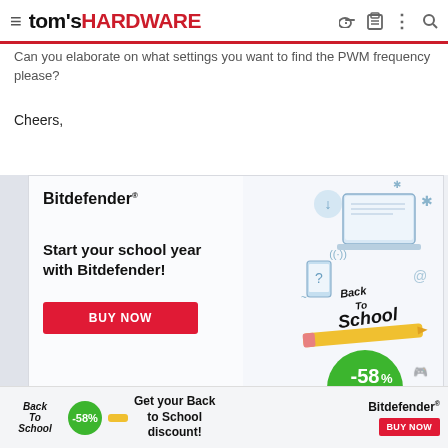tom's HARDWARE
Can you elaborate on what settings you want to find the PWM frequency please?
Cheers,
[Figure (infographic): Bitdefender Back to School advertisement. Text reads: Bitdefender. Start your school year with Bitdefender! BUY NOW button. -58% green circle. Back to School illustration with laptop, pencil, and school icons.]
[Figure (infographic): Bottom sticky Bitdefender ad banner: Back to School logo, -58% green badge, 'Get your Back to School discount!', Bitdefender logo and BUY NOW button.]